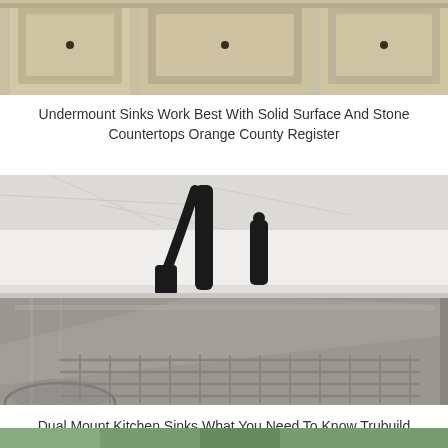[Figure (photo): Kitchen cabinets with ornate cream/gold frames and dark knobs, partial top view]
Undermount Sinks Work Best With Solid Surface And Stone Countertops Orange County Register
[Figure (photo): Stainless steel undermount kitchen sink with black faucet and soap dispenser on white stone countertop, with wire sink grid inside]
Dual Mount Kitchen Sinks What You Need To Know Trubuild Construction
[Figure (photo): Partial view of a third kitchen image, cut off at bottom of page]